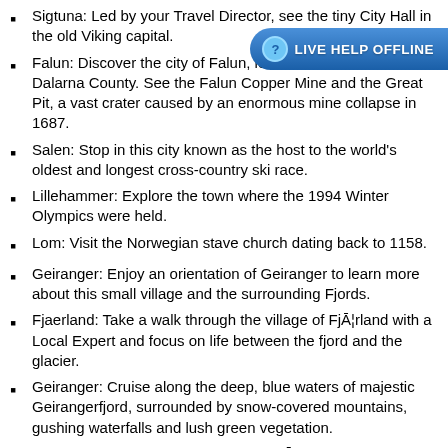Sigtuna: Led by your Travel Director, see the tiny City Hall in the old Viking capital.
Falun: Discover the city of Falun, located in the heart of Dalarna County. See the Falun Copper Mine and the Great Pit, a vast crater caused by an enormous mine collapse in 1687.
Salen: Stop in this city known as the host to the world's oldest and longest cross-country ski race.
Lillehammer: Explore the town where the 1994 Winter Olympics were held.
Lom: Visit the Norwegian stave church dating back to 1158.
Geiranger: Enjoy an orientation of Geiranger to learn more about this small village and the surrounding Fjords.
Fjaerland: Take a walk through the village of Fjærland with a Local Expert and focus on life between the fjord and the glacier.
Geiranger: Cruise along the deep, blue waters of majestic Geirangerfjord, surrounded by snow-covered mountains, gushing waterfalls and lush green vegetation.
Fjaerland: Enjoy a photo-stop at the Bøyabreen Glacier.
Leikanger: Learn about this quaint little coastal town